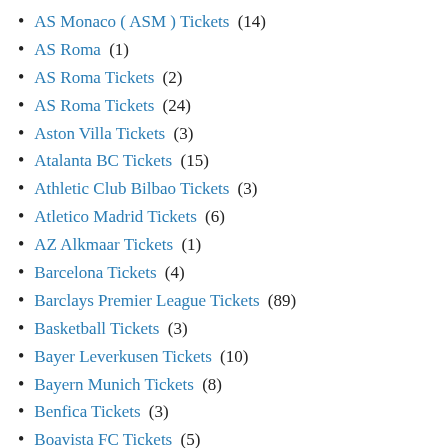AS Monaco ( ASM ) Tickets (14)
AS Roma (1)
AS Roma Tickets (2)
AS Roma Tickets (24)
Aston Villa Tickets (3)
Atalanta BC Tickets (15)
Athletic Club Bilbao Tickets (3)
Atletico Madrid Tickets (6)
AZ Alkmaar Tickets (1)
Barcelona Tickets (4)
Barclays Premier League Tickets (89)
Basketball Tickets (3)
Bayer Leverkusen Tickets (10)
Bayern Munich Tickets (8)
Benfica Tickets (3)
Boavista FC Tickets (5)